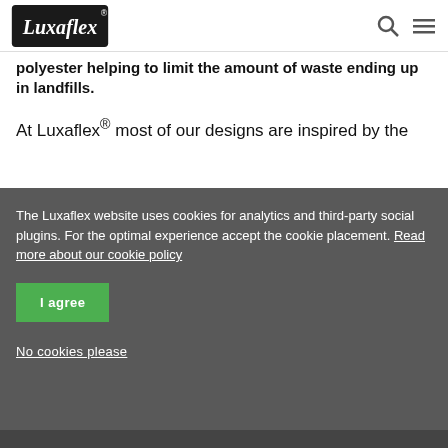Luxaflex [logo] | search icon | menu icon
polyester helping to limit the amount of waste ending up in landfills.
At Luxaflex® most of our designs are inspired by the
The Luxaflex website uses cookies for analytics and third-party social plugins. For the optimal experience accept the cookie placement. Read more about our cookie policy
I agree
No cookies please